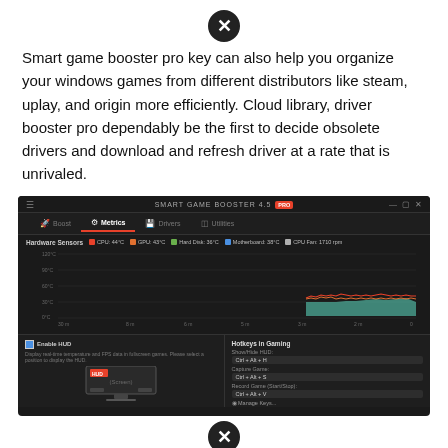[Figure (other): Close/cancel circle icon (X in black circle)]
Smart game booster pro key can also help you organize your windows games from different distributors like steam, uplay, and origin more efficiently. Cloud library, driver booster pro dependably be the first to decide obsolete drivers and download and refresh driver at a rate that is unrivaled.
[Figure (screenshot): Screenshot of Smart Game Booster 4.5 PRO application showing Metrics tab with Hardware Sensors area chart displaying CPU, GPU, Hard Disk, Motherboard temperatures and CPU Fan RPM, plus Enable HUD panel and Hotkeys in Gaming panel below.]
[Figure (other): Close/cancel circle icon (X in black circle) at bottom]